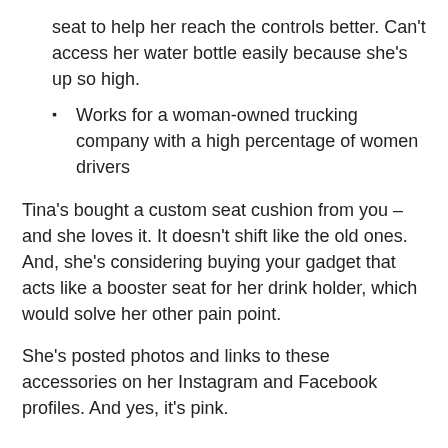seat to help her reach the controls better. Can't access her water bottle easily because she's up so high.
Works for a woman-owned trucking company with a high percentage of women drivers
Tina's bought a custom seat cushion from you – and she loves it. It doesn't shift like the old ones. And, she's considering buying your gadget that acts like a booster seat for her drink holder, which would solve her other pain point.
She's posted photos and links to these accessories on her Instagram and Facebook profiles. And yes, it's pink.